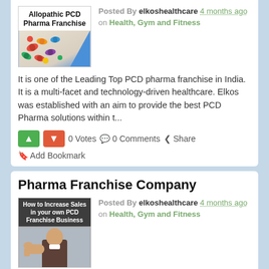[Figure (photo): Allopathic PCD Pharma Franchise product image with pills and blue triangle]
Posted By elkoshealthcare 4 months ago on Health, Gym and Fitness
It is one of the Leading Top PCD pharma franchise in India. It is a multi-facet and technology-driven healthcare. Elkos was established with an aim to provide the best PCD Pharma solutions within t...
0 Votes  0 Comments  Share  Add Bookmark
Pharma Franchise Company
[Figure (photo): How to Increase Sales in your own PCD Franchise Business - person giving thumbs up, elkos group logo]
Posted By elkoshealthcare 4 months ago on Health, Gym and Fitness
Elkos Healthcare Private Limited provide the best healthcare products within the affordable range. Its WHO-GMP-ISO 9001:2015 certified Pharma Franchise company. The company focuses on providing top...